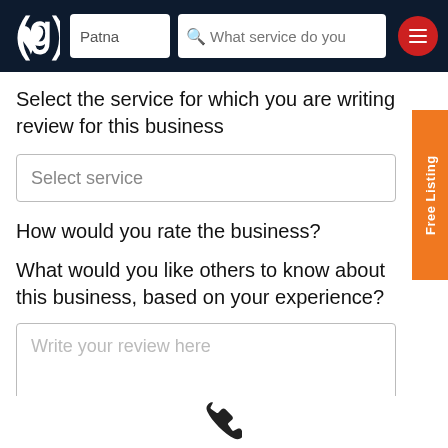[Figure (screenshot): App navigation header bar with logo, city search field showing 'Patna', service search field showing 'What service do you', and a red hamburger menu button]
Select the service for which you are writing review for this business
Select service
How would you rate the business?
What would you like others to know about this business, based on your experience?
Write your review here
[Figure (illustration): Phone/call icon at the bottom center of the page]